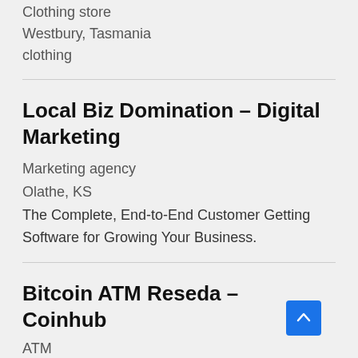Clothing store
Westbury, Tasmania
clothing
Local Biz Domination – Digital Marketing
Marketing agency
Olathe, KS
The Complete, End-to-End Customer Getting Software for Growing Your Business.
Bitcoin ATM Reseda – Coinhub
ATM